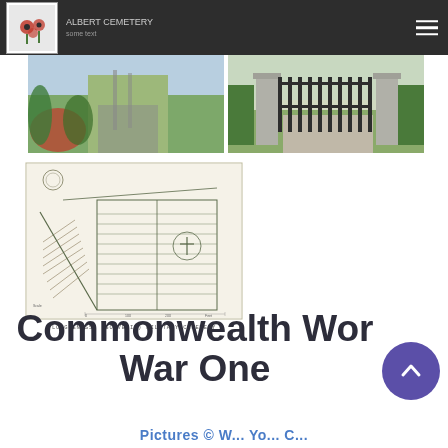Commonwealth War One - site navigation header
[Figure (photo): Left photo: Street view with trees, flowers and road in background]
[Figure (photo): Right photo: Cemetery entrance gate between stone pillars]
[Figure (engineering-diagram): Blueprint/architectural plan of a Commonwealth War cemetery layout]
LONGUENESSE (SOUVENIR) MILITARY CEMETERY
Commonwealth World War One
Pictures © W... Yo... C...